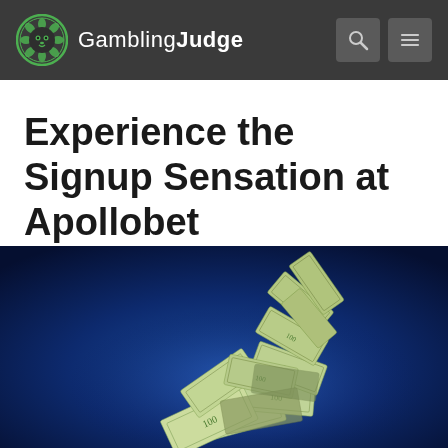GamblingJudge
Experience the Signup Sensation at Apollobet
[Figure (photo): Flying US dollar banknotes against a dark blue background, money cascading upward in a swirl]